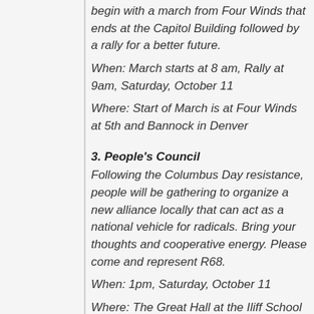begin with a march from Four Winds that ends at the Capitol Building followed by a rally for a better future.
When: March starts at 8 am, Rally at 9am, Saturday, October 11
Where: Start of March is at Four Winds at 5th and Bannock in Denver
3. People's Council
Following the Columbus Day resistance, people will be gathering to organize a new alliance locally that can act as a national vehicle for radicals. Bring your thoughts and cooperative energy. Please come and represent R68.
When: 1pm, Saturday, October 11
Where: The Great Hall at the Iliff School of Theology just past Evans on University Blvd, Denver